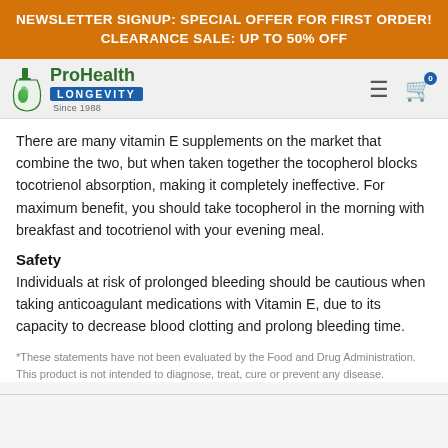NEWSLETTER SIGNUP: SPECIAL OFFER FOR FIRST ORDER! CLEARANCE SALE: UP TO 50% OFF
[Figure (logo): ProHealth Longevity logo with flask icon, green text 'ProHealth', blue banner 'LONGEVITY', 'Since 1988' tagline]
There are many vitamin E supplements on the market that combine the two, but when taken together the tocopherol blocks tocotrienol absorption, making it completely ineffective. For maximum benefit, you should take tocopherol in the morning with breakfast and tocotrienol with your evening meal.
Safety
Individuals at risk of prolonged bleeding should be cautious when taking anticoagulant medications with Vitamin E, due to its capacity to decrease blood clotting and prolong bleeding time.
*These statements have not been evaluated by the Food and Drug Administration. This product is not intended to diagnose, treat, cure or prevent any disease.